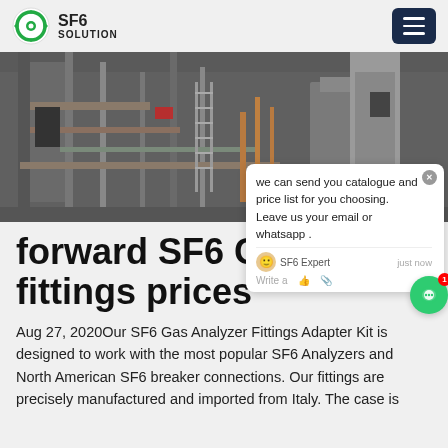SF6 SOLUTION
[Figure (photo): Industrial facility with pipes, metal structures, and equipment — SF6 gas related industrial photo]
[Figure (screenshot): Chat popup widget: 'we can send you catalogue and price list for you choosing. Leave us your email or whatsapp .' with SF6 Expert avatar and 'just now' timestamp, Write a message area with thumbs up and paperclip icons. Green chat bubble with badge '1'.]
forward SF6 G 2 5 fittings prices
Aug 27, 2020Our SF6 Gas Analyzer Fittings Adapter Kit is designed to work with the most popular SF6 Analyzers and North American SF6 breaker connections. Our fittings are precisely manufactured and imported from Italy. The case is